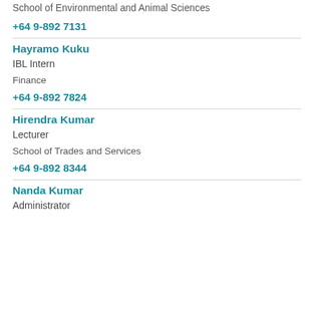School of Environmental and Animal Sciences
+64 9-892 7131
Hayramo Kuku
IBL Intern
Finance
+64 9-892 7824
Hirendra Kumar
Lecturer
School of Trades and Services
+64 9-892 8344
Nanda Kumar
Administrator